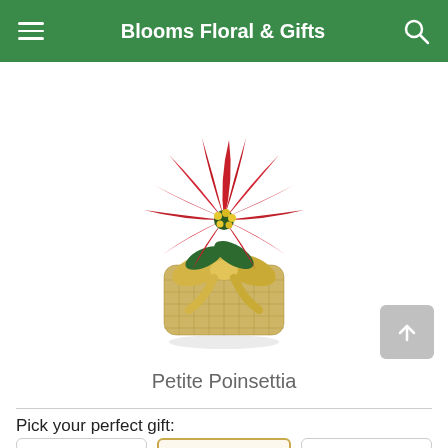Blooms Floral & Gifts
[Figure (photo): A petite poinsettia plant with vivid red leaves and small yellow center flowers, wrapped in burlap fabric with a gold ribbon bow.]
Petite Poinsettia
Pick your perfect gift: